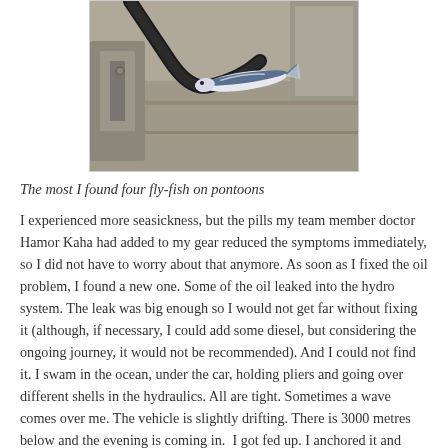[Figure (photo): Photo of a fly-fish (small blue and silver fish) resting on a pontoon or metal surface, with a black hose/cable visible in the background.]
The most I found four fly-fish on pontoons
I experienced more seasickness, but the pills my team member doctor Hamor Kaha had added to my gear reduced the symptoms immediately, so I did not have to worry about that anymore. As soon as I fixed the oil problem, I found a new one. Some of the oil leaked into the hydro system. The leak was big enough so I would not get far without fixing it (although, if necessary, I could add some diesel, but considering the ongoing journey, it would not be recommended). And I could not find it. I swam in the ocean, under the car, holding pliers and going over different shells in the hydraulics. All are tight. Sometimes a wave comes over me. The vehicle is slightly drifting. There is 3000 metres below and the evening is coming in.  I got fed up. I anchored it and went to sleep. In the morning, after swimming under the car again, I found the leak. Right behind the hydropump. I did not even need to swim under the car, I could approach it from the front wheel pit.  I did not manage to turn off the biggest pipe in the hydro system,